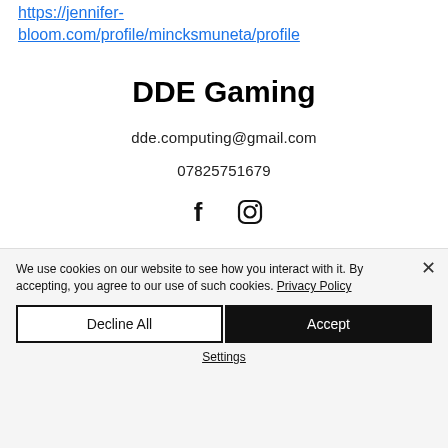https://jennifer-bloom.com/profile/mincksmuneta/profile
DDE Gaming
dde.computing@gmail.com
07825751679
[Figure (infographic): Social media icons: Facebook (f) and Instagram (camera/circle icon)]
We use cookies on our website to see how you interact with it. By accepting, you agree to our use of such cookies. Privacy Policy
Decline All
Accept
Settings